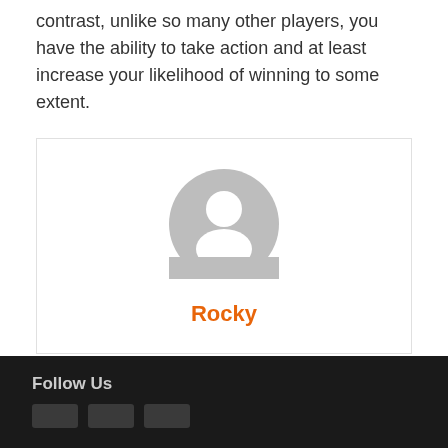Playing the slots relies almost entirely on chance. In contrast, unlike so many other players, you have the ability to take action and at least increase your likelihood of winning to some extent.
[Figure (illustration): Generic user avatar icon — grey circle with white person silhouette — centered inside a bordered box, with the name 'Rocky' in orange text below the avatar.]
Follow Us